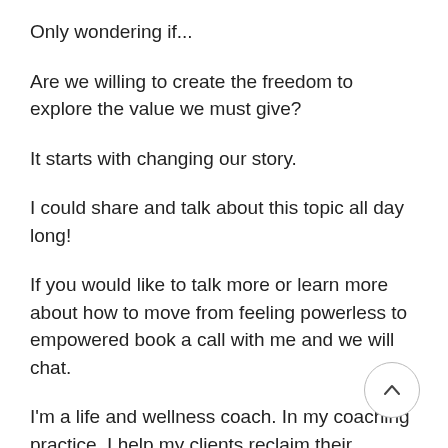Only wondering if...
Are we willing to create the freedom to explore the value we must give?
It starts with changing our story.
I could share and talk about this topic all day long!
If you would like to talk more or learn more about how to move from feeling powerless to empowered book a call with me and we will chat.
I'm a life and wellness coach. In my coaching practice, I help my clients reclaim their personal power by letting go of their past, building a healthy